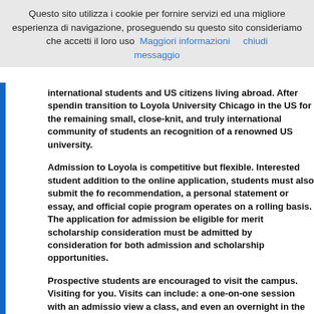Questo sito utilizza i cookie per fornire servizi ed una migliore esperienza di navigazione, proseguendo su questo sito consideriamo che accetti il loro uso  Maggiori informazioni    chiudi messaggio
international students and US citizens living abroad. After spending transition to Loyola University Chicago in the US for the remaining small, close-knit, and truly international community of students an recognition of a renowned US university.
Admission to Loyola is competitive but flexible. Interested student addition to the online application, students must also submit the fo recommendation, a personal statement or essay, and official copie program operates on a rolling basis. The application for admission be eligible for merit scholarship consideration must be admitted by consideration for both admission and scholarship opportunities.
Prospective students are encouraged to visit the campus. Visiting for you. Visits can include: a one-on-one session with an admissio view a class, and even an overnight in the residence hall. To arrang
Highlights:
Earn a degree from a prestigious American university. The "